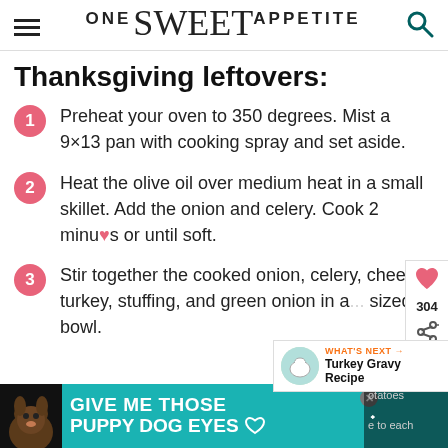ONE Sweet APPETITE
Thanksgiving leftovers:
Preheat your oven to 350 degrees. Mist a 9×13 pan with cooking spray and set aside.
Heat the olive oil over medium heat in a small skillet. Add the onion and celery. Cook 2 minutes or until soft.
Stir together the cooked onion, celery, cheese, turkey, stuffing, and green onion in a large sized bowl.
[Figure (other): Advertisement banner with dog and text GIVE ME THOSE PUPPY DOG EYES on teal background]